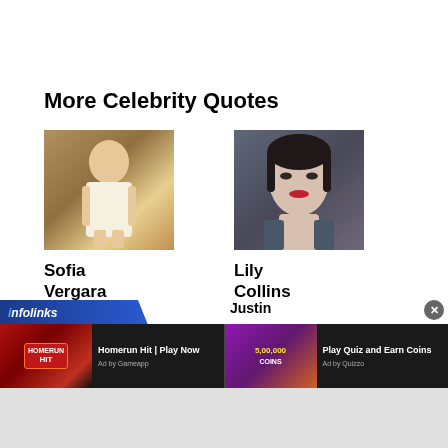More Celebrity Quotes
[Figure (photo): Photo of Sofia Vergara in a white dress on a red carpet background]
Sofia Vergara
[Figure (photo): Photo of Lily Collins with dark hair and red lipstick]
Lily Collins
[Figure (screenshot): Infolinks advertisement bar with two ads: Homerun Hit Play Now (Ad by Gameapp) and Play Quiz and Earn Coins (Ad by Quizzo). Also shows Justin label and close button.]